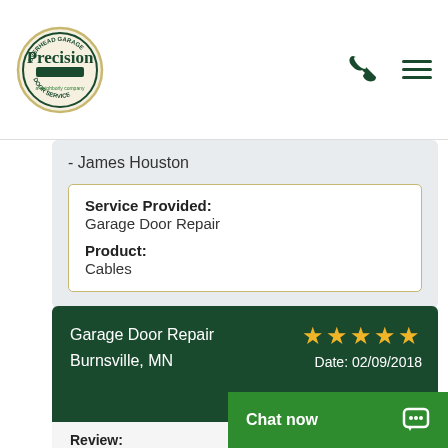Precision Door Service - a Neighborly company
- James Houston
| Field | Value |
| --- | --- |
| Service Provided: | Garage Door Repair |
| Product: | Cables |
Garage Door Repair
Burnsville, MN
★★★★★ Date: 02/09/2018
Review:
Jason was very fr...